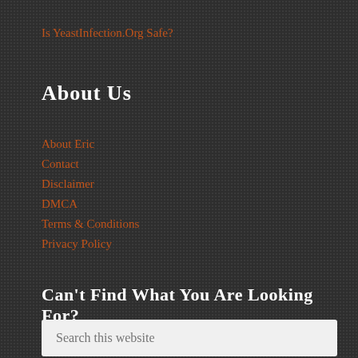Is YeastInfection.Org Safe?
About Us
About Eric
Contact
Disclaimer
DMCA
Terms & Conditions
Privacy Policy
Can't Find What You Are Looking For?
Search this website